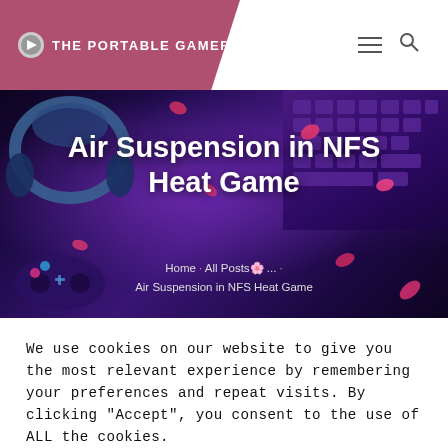THE PORTABLE GAMER
[Figure (photo): Hero banner with dark purple/blue gaming background showing headphones, keyboard keys, controller, and pink flower petals with neon lighting]
Air Suspension in NFS Heat Game
Home · All Posts · ... · Air Suspension in NFS Heat Game
We use cookies on our website to give you the most relevant experience by remembering your preferences and repeat visits. By clicking "Accept", you consent to the use of ALL the cookies.
Do not sell my personal information.
Cookie Settings   Accept